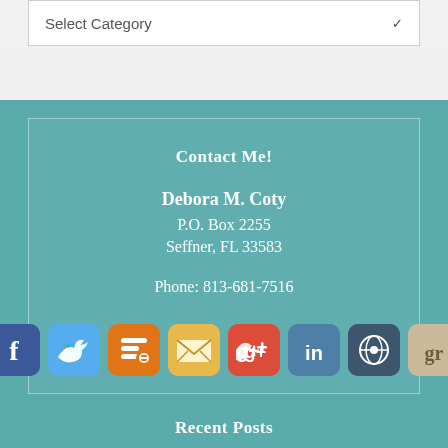Select Category
Contact Me!
Debora M. Coty
P.O. Box 2255
Seffner, FL 33583
Phone: 813-681-7516
[Figure (illustration): Row of 8 social media icons: Facebook (blue), Twitter (light blue), Blogger (orange), Email/envelope (gold/yellow), Google+ (red), LinkedIn (blue-gray), WordPress (dark blue-gray), Goodreads (tan/beige)]
Recent Posts